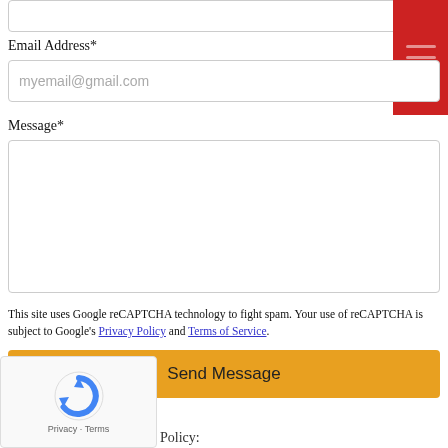Email Address*
myemail@gmail.com
Message*
This site uses Google reCAPTCHA technology to fight spam. Your use of reCAPTCHA is subject to Google's Privacy Policy and Terms of Service.
Send Message
[Figure (logo): reCAPTCHA widget with Google logo and Privacy - Terms text]
Policy: